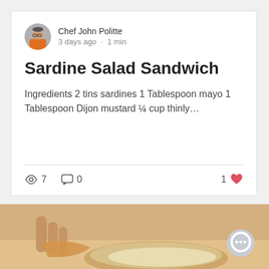Chef John Politte
3 days ago · 1 min
Sardine Salad Sandwich
Ingredients 2 tins sardines 1 Tablespoon mayo 1 Tablespoon Dijon mustard ¼ cup thinly…
👁 7   💬 0   1 ❤
[Figure (photo): Photo of food — a hand dipping or holding a piece of food over a bowl with a creamy sauce, warm yellow-orange tones.]